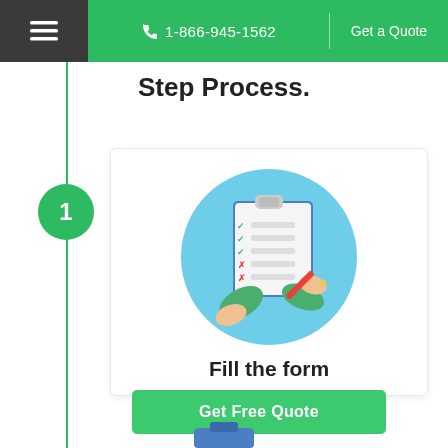1-866-945-1562 | Get a Quote
Step Process.
[Figure (illustration): Step 1 illustration: hands filling out a checklist/clipboard form with checkmarks and X marks, pencil in hand, on a teal circular background]
Fill the form
Get Free Quote